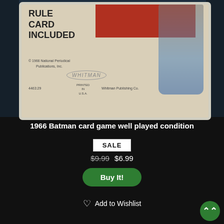[Figure (photo): Close-up photo of a 1966 Batman card game packaging (Whitman Publishing Co.) showing the back/bottom of the card game box in a plastic case. Text visible: 'RULE CARD INCLUDED', '© 1966 National Periodical Publications, Inc.', 'WHITMAN' logo oval, '4463:29', 'PRINTED IN U.S.A.', 'Whitman Publishing Co.' The background is a blue fabric/carpet.]
1966 Batman card game well played condition
SALE
$9.99 $6.99
Buy It!
Add to Wishlist